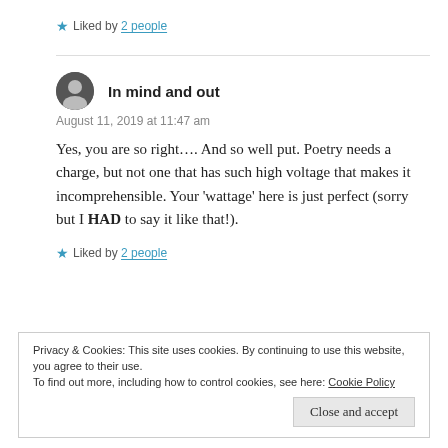★ Liked by 2 people
In mind and out
August 11, 2019 at 11:47 am
Yes, you are so right…. And so well put. Poetry needs a charge, but not one that has such high voltage that makes it incomprehensible. Your 'wattage' here is just perfect (sorry but I HAD to say it like that!).
★ Liked by 2 people
Privacy & Cookies: This site uses cookies. By continuing to use this website, you agree to their use.
To find out more, including how to control cookies, see here: Cookie Policy
Close and accept